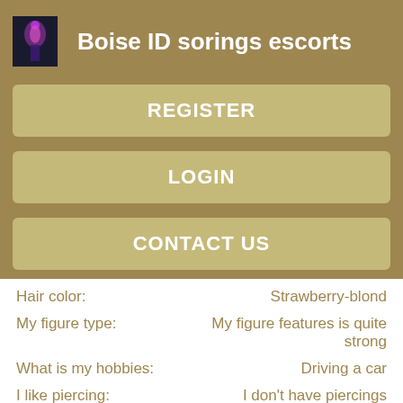Boise ID sorings escorts
REGISTER
LOGIN
CONTACT US
Hair color: Strawberry-blond
My figure type: My figure features is quite strong
What is my hobbies: Driving a car
I like piercing: I don't have piercings
Views: 919